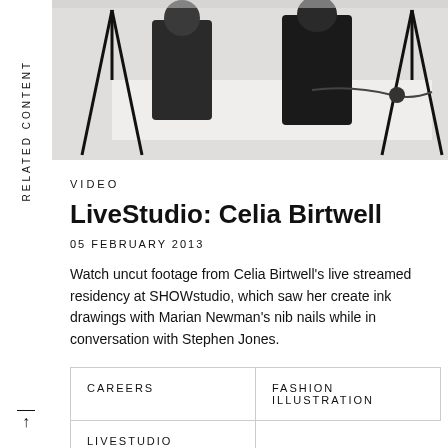[Figure (photo): Black and white photo of people sitting at a table in a studio setting with tripods and cables visible]
VIDEO
LiveStudio: Celia Birtwell
05 FEBRUARY 2013
Watch uncut footage from Celia Birtwell's live streamed residency at SHOWstudio, which saw her create ink drawings with Marian Newman's nib nails while in conversation with Stephen Jones.
CAREERS
FASHION ILLUSTRATION
LIVESTUDIO